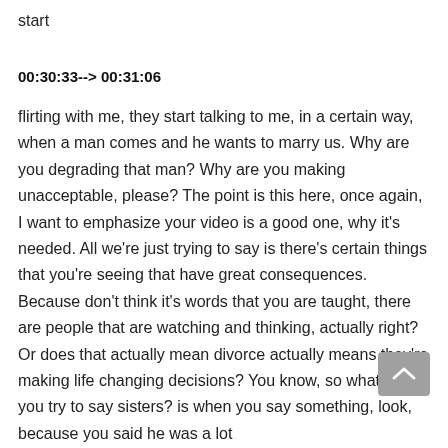start
00:30:33--> 00:31:06
flirting with me, they start talking to me, in a certain way, when a man comes and he wants to marry us. Why are you degrading that man? Why are you making unacceptable, please? The point is this here, once again, I want to emphasize your video is a good one, why it's needed. All we're just trying to say is there's certain things that you're seeing that have great consequences. Because don't think it's words that you are taught, there are people that are watching and thinking, actually right? Or does that actually mean divorce actually means they're making life changing decisions? You know, so what would you try to say sisters? is when you say something, look, because you said he was a lot